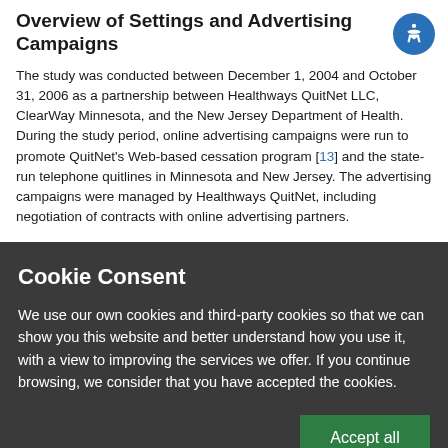Overview of Settings and Advertising Campaigns
The study was conducted between December 1, 2004 and October 31, 2006 as a partnership between Healthways QuitNet LLC, ClearWay Minnesota, and the New Jersey Department of Health. During the study period, online advertising campaigns were run to promote QuitNet's Web-based cessation program [13] and the state-run telephone quitlines in Minnesota and New Jersey. The advertising campaigns were managed by Healthways QuitNet, including negotiation of contracts with online advertising partners.
Cookie Consent
We use our own cookies and third-party cookies so that we can show you this website and better understand how you use it, with a view to improving the services we offer. If you continue browsing, we consider that you have accepted the cookies.